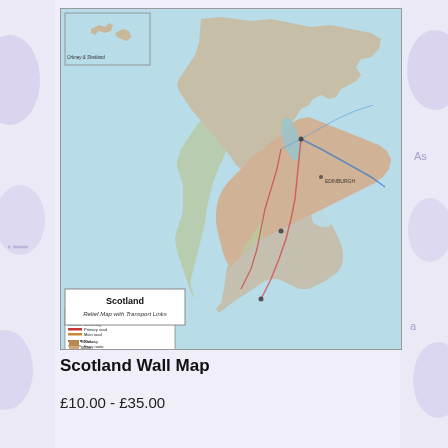[Figure (map): Scotland Relief Map with Transport Links — a detailed topographic and road map of Scotland showing elevation shading in greens, tans, and oranges, with transport links overlaid. Includes an inset map of Orkney/Shetland islands in the top-left, a legend box in the lower-left, and an elevation key below the legend. The bottom-left corner shows a title cartouche reading 'Scotland / Relief Map with Transport Links'.]
Scotland Wall Map
£10.00 - £35.00